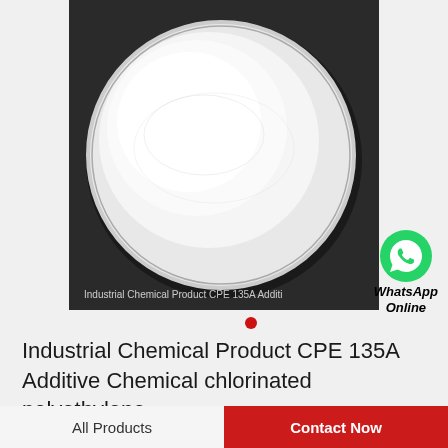[Figure (photo): White powder (chlorinated polyethylene CPE 135A) in a round petri dish on a dark background. Watermark text reads: Industrial Chemical Product CPE 135A Additi...]
[Figure (logo): WhatsApp green circle icon with phone handset in white, with text 'WhatsApp Online' in italic bold]
Industrial Chemical Product CPE 135A Additive Chemical chlorinated polyethylene